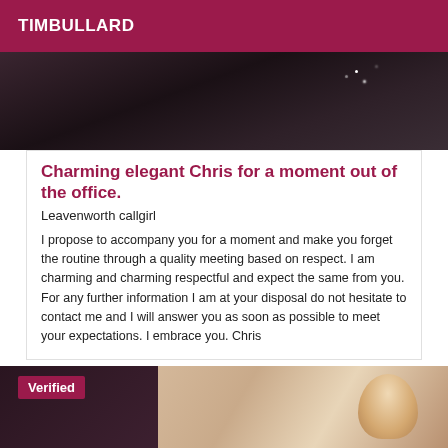TIMBULLARD
[Figure (photo): Dark background photo, partially visible, showing a dimly lit scene with sparkle/light effects]
Charming elegant Chris for a moment out of the office.
Leavenworth callgirl
I propose to accompany you for a moment and make you forget the routine through a quality meeting based on respect. I am charming and charming respectful and expect the same from you. For any further information I am at your disposal do not hesitate to contact me and I will answer you as soon as possible to meet your expectations. I embrace you. Chris
[Figure (photo): Photo with a Verified badge in top left corner (dark magenta background). Left side shows a dark-toned person, right side shows a blonde woman lying on a bed with an ornate gold headboard.]